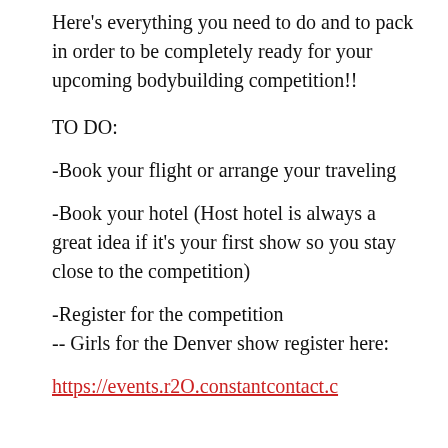Here's everything you need to do and to pack in order to be completely ready for your upcoming bodybuilding competition!!
TO DO:
-Book your flight or arrange your traveling
-Book your hotel (Host hotel is always a great idea if it's your first show so you stay close to the competition)
-Register for the competition
-- Girls for the Denver show register here:
https://events.r2O.constantcontact.c